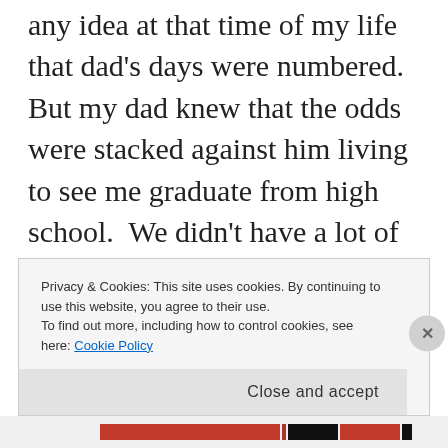any idea at that time of my life that dad's days were numbered.  But my dad knew that the odds were stacked against him living to see me graduate from high school.  We didn't have a lot of money, but dad gave me the invaluable gift of his time.  We went to some baseball games, took walks, went fishing, and talked about important things.  Most importantly, of course, dad talked to me about his deep faith in the Father, I gave my
Privacy & Cookies: This site uses cookies. By continuing to use this website, you agree to their use.
To find out more, including how to control cookies, see here: Cookie Policy
Close and accept